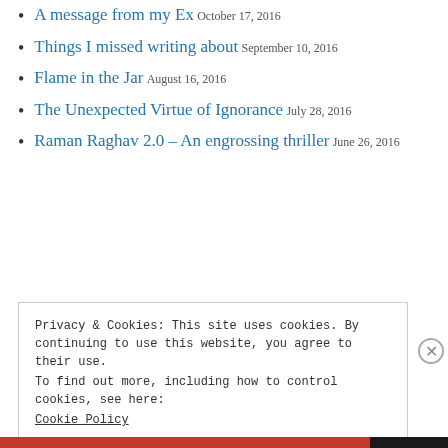A message from my Ex
October 17, 2016
Things I missed writing about
September 10, 2016
Flame in the Jar
August 16, 2016
The Unexpected Virtue of Ignorance
July 28, 2016
Raman Raghav 2.0 – An engrossing thriller
June 26, 2016
Privacy & Cookies: This site uses cookies. By continuing to use this website, you agree to their use.
To find out more, including how to control cookies, see here:
Cookie Policy
Close and accept